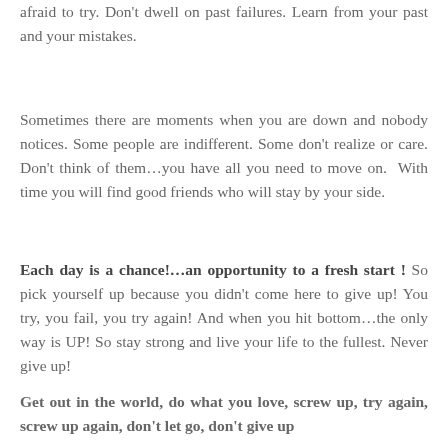afraid to try. Don't dwell on past failures. Learn from your past and your mistakes.
Sometimes there are moments when you are down and nobody notices. Some people are indifferent. Some don't realize or care. Don't think of them...you have all you need to move on. With time you will find good friends who will stay by your side.
Each day is a chance!...an opportunity to a fresh start ! So pick yourself up because you didn't come here to give up! You try, you fail, you try again! And when you hit bottom...the only way is UP! So stay strong and live your life to the fullest. Never give up!
Get out in the world, do what you love, screw up, try again, screw up again, don't let go, don't give up